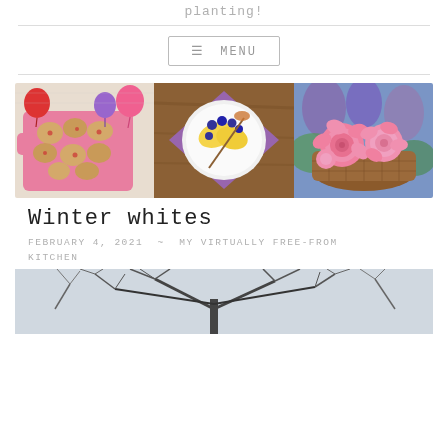planting!
[Figure (photo): Three-panel photo strip: left panel shows cookies on a pink cutting board with pink and purple balloons; center panel shows a fruit and berry bowl on a purple napkin on a wooden table; right panel shows pink roses in a wicker basket.]
Winter whites
FEBRUARY 4, 2021 ~ MY VIRTUALLY FREE-FROM KITCHEN
[Figure (photo): Partial view of a winter tree scene, black branches against a light sky.]